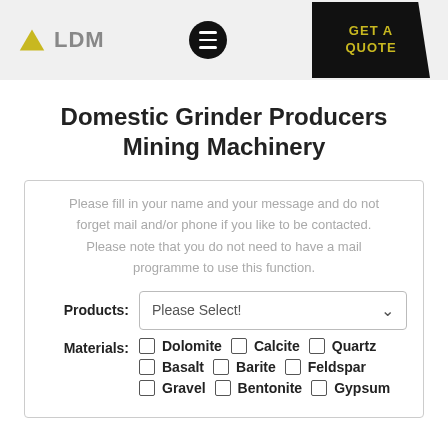LDM | Menu | GET A QUOTE
Domestic Grinder Producers Mining Machinery
Please fill in your name and your message and do not forget mail and/or phone if you like to be contacted. Please note that you do not need to have a mail programme to use this function.
Products: Please Select!
Materials: Dolomite  Calcite  Quartz  Basalt  Barite  Feldspar  Gravel  Bentonite  Gypsum